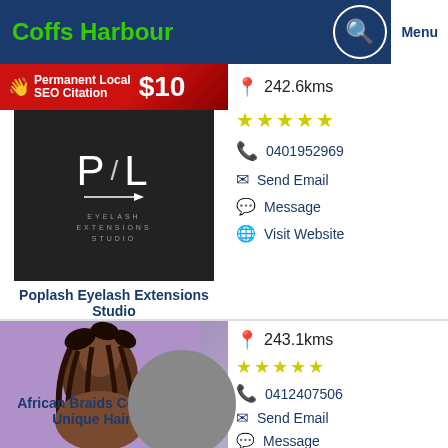Coffs Harbour
[Figure (screenshot): Business listing card for Poplash Eyelash Extensions Studio with logo, distance 242.6kms, 5 star rating, phone 0401952969, Send Email, Message, Visit Website]
Poplash Eyelash Extensions Studio
242.6kms
0401952969
Send Email
Message
Visit Website
[Figure (photo): African woman with braided hair against purple background]
African Braids Cornrows and Unique Hair Styles
243.1kms
0412407506
Send Email
Message